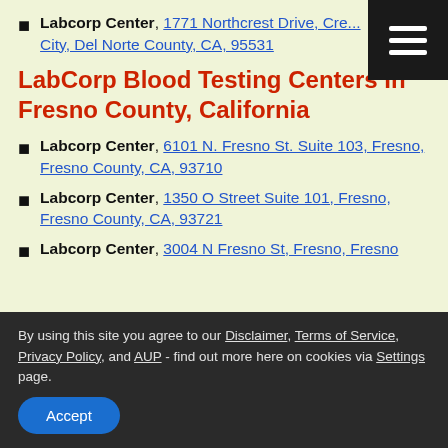Labcorp Center, 1771 Northcrest Drive, Crescent City, Del Norte County, CA, 95531
LabCorp Blood Testing Centers In Fresno County, California
Labcorp Center, 6101 N. Fresno St. Suite 103, Fresno, Fresno County, CA, 93710
Labcorp Center, 1350 O Street Suite 101, Fresno, Fresno County, CA, 93721
Labcorp Center, 3004 N Fresno St, Fresno, Fresno...
By using this site you agree to our Disclaimer, Terms of Service, Privacy Policy, and AUP - find out more here on cookies via Settings page.